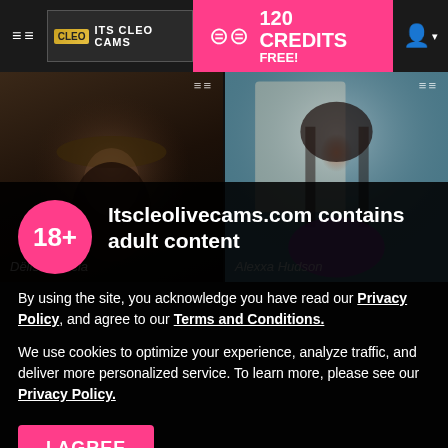≡≡  CLEO  ITS CLEO CAMS  |  120 CREDITS FREE!
[Figure (screenshot): Two webcam video thumbnails side by side: left shows a woman in a hat (Dëlisa Garcia), right shows a woman in purple (Alexxa Hudson)]
Dëlisa Garcia
Alexxa Hudson
Itscleolivecams.com contains adult content
By using the site, you acknowledge you have read our Privacy Policy, and agree to our Terms and Conditions.
We use cookies to optimize your experience, analyze traffic, and deliver more personalized service. To learn more, please see our Privacy Policy.
I AGREE